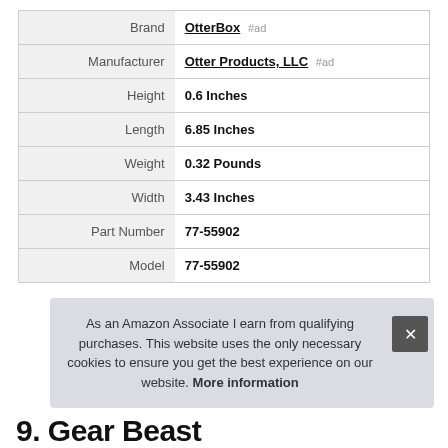| Attribute | Value |
| --- | --- |
| Brand | OtterBox #ad |
| Manufacturer | Otter Products, LLC #ad |
| Height | 0.6 Inches |
| Length | 6.85 Inches |
| Weight | 0.32 Pounds |
| Width | 3.43 Inches |
| Part Number | 77-55902 |
| Model | 77-55902 |
As an Amazon Associate I earn from qualifying purchases. This website uses the only necessary cookies to ensure you get the best experience on our website. More information
9. Gear Beast